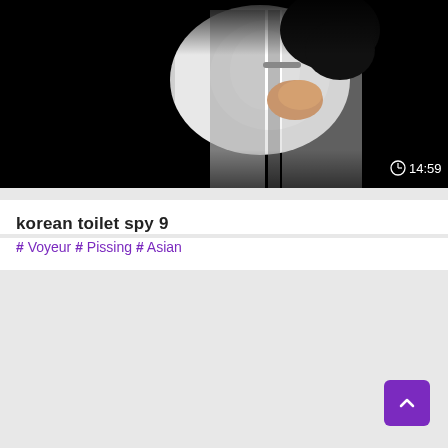[Figure (screenshot): Dark video thumbnail showing a hand near what appears to be a door or locker, with bright light in the background. Duration badge shows 14:59 in bottom right.]
korean toilet spy 9
# Voyeur # Pissing # Asian